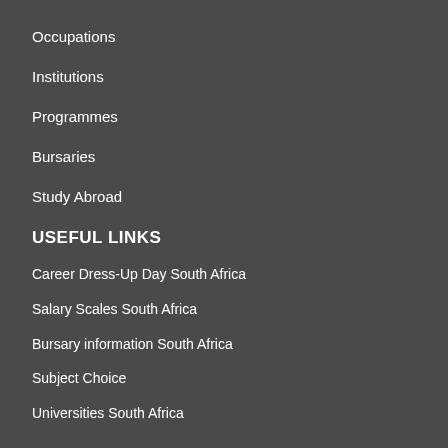Occupations
Institutions
Programmes
Bursaries
Study Abroad
USEFUL LINKS
Career Dress-Up Day South Africa
Salary Scales South Africa
Bursary information South Africa
Subject Choice
Universities South Africa